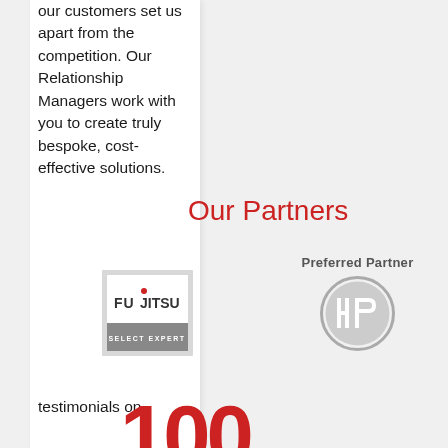our customers set us apart from the competition. Our Relationship Managers work with you to create truly bespoke, cost-effective solutions.
Our Partners
[Figure (logo): Fujitsu Select Expert logo — grey bordered square with Fujitsu branding and 'SELECT EXPERT' text]
[Figure (logo): HP Preferred Partner logo — grey HP circle logo with 'Preferred Partner' text above]
testimonials on
100